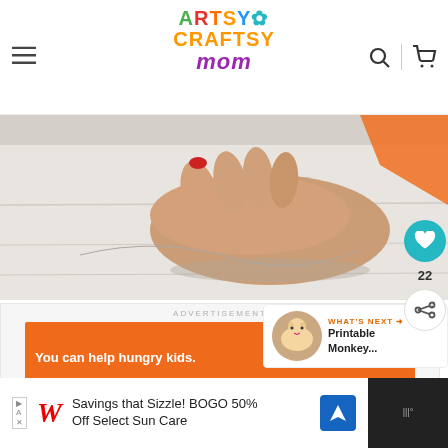Artsy Craftsy Mom
[Figure (photo): Close-up of a hand with red nail polish working on a craft project on a white wooden table, with orange paper visible in the corner]
[Figure (infographic): Advertisement banner: 'You can help hungry kids. NO KID HUNGRY - LEARN HOW']
ADVERTISEMENT
[Figure (infographic): WHAT'S NEXT arrow - Printable Monkey...]
[Figure (infographic): Bottom banner advertisement: Walgreens - Savings that Sizzle! BOGO 50% Off Select Sun Care]